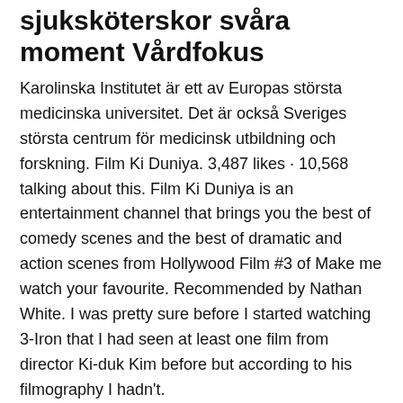sjuksköterskor svåra moment Vårdfokus
Karolinska Institutet är ett av Europas största medicinska universitet. Det är också Sveriges största centrum för medicinsk utbildning och forskning. Film Ki Duniya. 3,487 likes · 10,568 talking about this. Film Ki Duniya is an entertainment channel that brings you the best of comedy scenes and the best of dramatic and action scenes from Hollywood Film #3 of Make me watch your favourite. Recommended by Nathan White. I was pretty sure before I started watching 3-Iron that I had seen at least one film from director Ki-duk Kim before but according to his filmography I hadn't.
Vad händer i kroppen